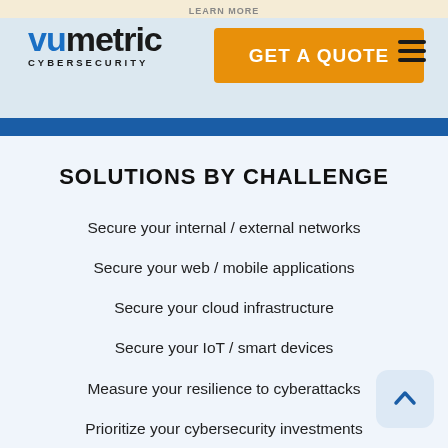LEARN MORE
[Figure (logo): Vumetric Cybersecurity logo with blue 'vu' and black 'metric' text, CYBERSECURITY subtitle]
[Figure (other): GET A QUOTE button in orange]
[Figure (other): Hamburger menu icon (three horizontal lines)]
SOLUTIONS BY CHALLENGE
Secure your internal / external networks
Secure your web / mobile applications
Secure your cloud infrastructure
Secure your IoT / smart devices
Measure your resilience to cyberattacks
Prioritize your cybersecurity investments